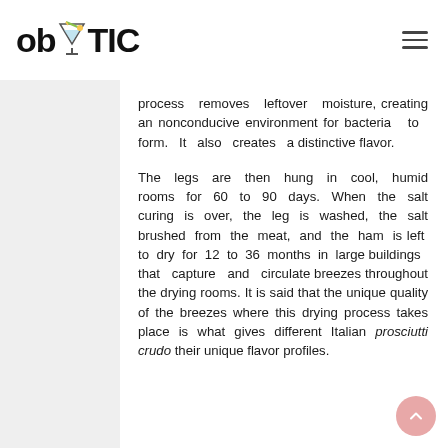ob TIC
process removes leftover moisture, creating an nonconducive environment for bacteria to form. It also creates a distinctive flavor.
The legs are then hung in cool, humid rooms for 60 to 90 days. When the salt curing is over, the leg is washed, the salt brushed from the meat, and the ham is left to dry for 12 to 36 months in large buildings that capture and circulate breezes throughout the drying rooms. It is said that the unique quality of the breezes where this drying process takes place is what gives different Italian prosciutti crudo their unique flavor profiles.